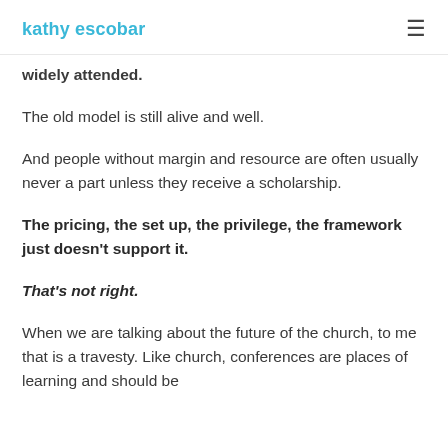kathy escobar
widely attended.
The old model is still alive and well.
And people without margin and resource are often usually never a part unless they receive a scholarship.
The pricing, the set up, the privilege, the framework just doesn't support it.
That's not right.
When we are talking about the future of the church, to me that is a travesty. Like church, conferences are places of learning and should be